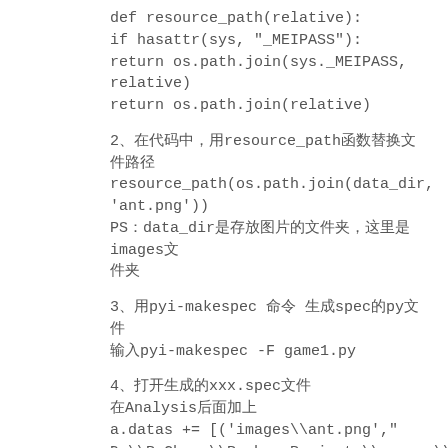def resource_path(relative):
if hasattr(sys, "_MEIPASS"):
return os.path.join(sys._MEIPASS, relative)
return os.path.join(relative)
2、在代码中，用resource_path函数替换文件路径
resource_path(os.path.join(data_dir, 'ant.png'))
PS：data_dir是存放图片的文件夹，这里是images文件夹
3、用pyi-makespec 命令 生成spec的py文件
输入pyi-makespec -F game1.py
4、打开生成的xxx.spec文件
在Analysis后面加上
a.datas += [('images\\ant.png',"D:\\PyCharm\\PycharmProjects\\pygame\\images\\ant.png",'DATA'),('images\\leaf.png',"D:\\PyCharm\\PycharmProjects\\pygame\\images\\leaf.png",'DATA'),('images\\spider.png',"D:\\PyCharm\\PycharmProjects\\pygame\\images\\spider.p